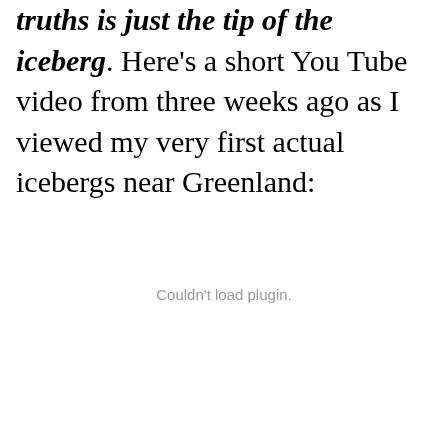truths is just the tip of the iceberg. Here's a short You Tube video from three weeks ago as I viewed my very first actual icebergs near Greenland:
[Figure (other): Embedded video plugin area showing 'Couldn't load plugin.' message]